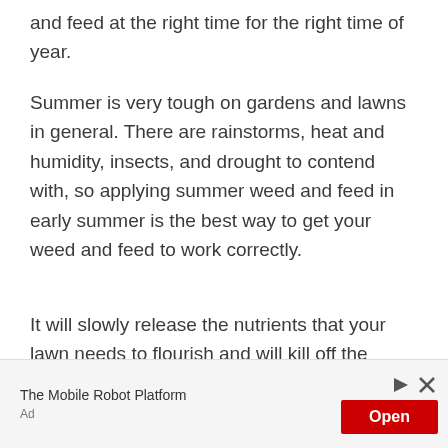and feed at the right time for the right time of year.
Summer is very tough on gardens and lawns in general. There are rainstorms, heat and humidity, insects, and drought to contend with, so applying summer weed and feed in early summer is the best way to get your weed and feed to work correctly.
It will slowly release the nutrients that your lawn needs to flourish and will kill off the weeds in the process. There are summer weed and feeds that have insect repellent in the weed and feed and will help take care of the insects as well.
[Figure (other): Advertisement banner: The Mobile Robot Platform with an Open button]